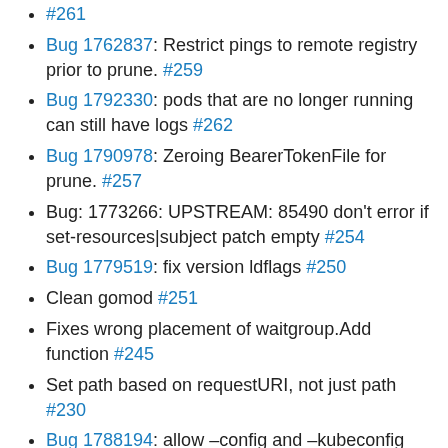#261
Bug 1762837: Restrict pings to remote registry prior to prune. #259
Bug 1792330: pods that are no longer running can still have logs #262
Bug 1790978: Zeroing BearerTokenFile for prune. #257
Bug: 1773266: UPSTREAM: 85490 don't error if set-resources|subject patch empty #254
Bug 1779519: fix version ldflags #250
Clean gomod #251
Fixes wrong placement of waitgroup.Add function #245
Set path based on requestURI, not just path #230
Bug 1788194: allow –config and –kubeconfig #246
Bug 1774424: set builder flags so it prints resources when nothing is specified #231
Verify imports #240
Bug 1778019: If required flag is not passed, don't